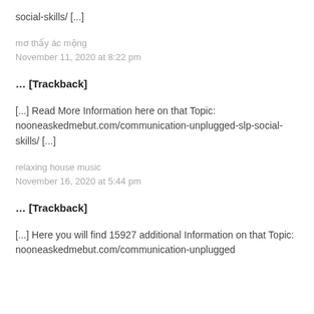social-skills/ [...]
mơ thấy ác mộng
November 11, 2020 at 8:22 pm
… [Trackback]
[...] Read More Information here on that Topic: nooneaskedmebut.com/communication-unplugged-slp-social-skills/ [...]
relaxing house music
November 16, 2020 at 5:44 pm
… [Trackback]
[...] Here you will find 15927 additional Information on that Topic: nooneaskedmebut.com/communication-unplugged